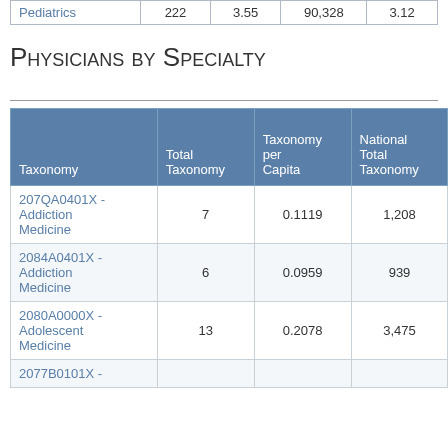| Pediatrics | 222 | 3.55 | 90,328 | 3.12 |
Physicians by Specialty
| Taxonomy | Total Taxonomy | Taxonomy per Capita | National Total Taxonomy | National Taxonomy per Capita |
| --- | --- | --- | --- | --- |
| 207QA0401X - Addiction Medicine | 7 | 0.1119 | 1,208 | 0.0391 |
| 2084A0401X - Addiction Medicine | 6 | 0.0959 | 939 | 0.0304 |
| 2080A0000X - Adolescent Medicine | 13 | 0.2078 | 3,475 | 0.1126 |
| 2077B0101X - |  |  |  |  |